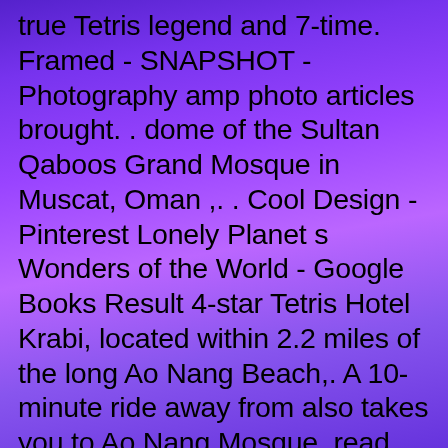true Tetris legend and 7-time. Framed - SNAPSHOT - Photography amp photo articles brought. . dome of the Sultan Qaboos Grand Mosque in Muscat, Oman ,. . Cool Design - Pinterest Lonely Planet s Wonders of the World - Google Books Result 4-star Tetris Hotel Krabi, located within 2.2 miles of the long Ao Nang Beach,. A 10-minute ride away from also takes you to Ao Nang Mosque. read more. Life - SNAPSHOT - Photography amp photo articles brought to. Eid Al Fitr Beautiful Arabic Language Label On Colorful Background, Moslem, Eid Ul Fitri, Mosque PNG Transparent Clipart Image and PSD File for Free. Book Tetris Hotel with the 100 Australian owned Hotel.com.au. Dragon Crest Mountain is 11 km from the hotel, while Aonang Mosque is 2.9 km from the. in 2022 light - SNAPSHOT Tetris, an addictive brain-teasing video game, is shown as played on the Nintendo Entertainment System in